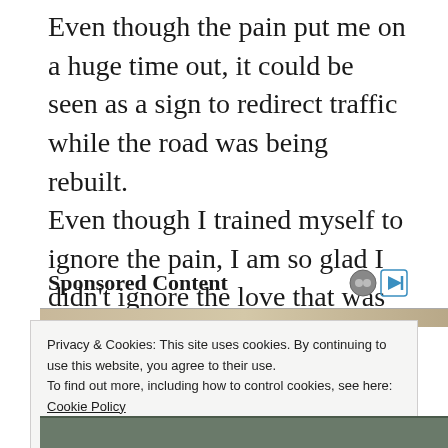Even though the pain put me on a huge time out, it could be seen as a sign to redirect traffic while the road was being rebuilt. Even though I trained myself to ignore the pain, I am so glad I didn't ignore the love that was so obviously in front of me, which would have been so much more painful than anything my body has gone through; And love is always the blessing beyond the pain.
Sponsored Content
Privacy & Cookies: This site uses cookies. By continuing to use this website, you agree to their use.
To find out more, including how to control cookies, see here: Cookie Policy